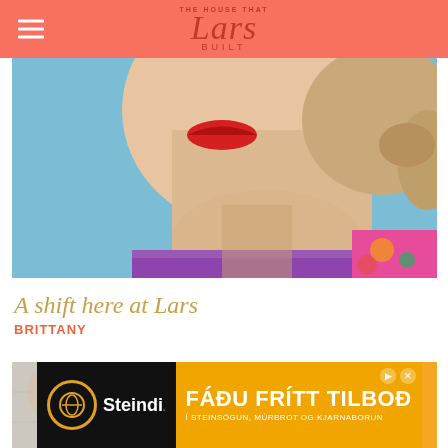THE HOUSE THAT Lars BUILT
[Figure (photo): Close-up portrait of a woman with red lipstick and floral collar, looking upward against a blue sky]
A shift here at Lars
BRITTANY
[Figure (photo): Woman wearing a yellow and white striped shirt with a red floral scarf, against a white brick wall]
[Figure (other): Advertisement banner for Steindi with text: FÁÐU FRÍTT TILBOÐ Í STEINSÖGUN, MÚRBROT OG KJARNABORUN]